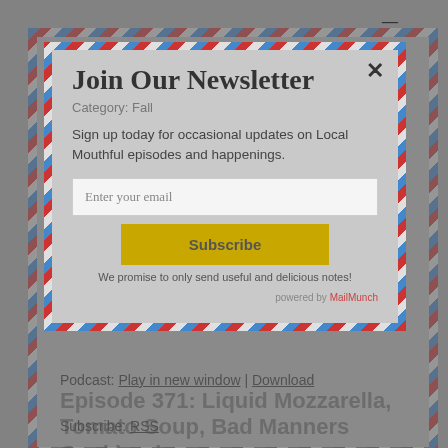Join Our Newsletter
Category: Fall
Sign up today for occasional updates on Local Mouthful episodes and happenings.
Enter your email
Subscribe
We promise to only send useful and delicious notes!
Powered by MailMunch
Episode 371: Liquid Mozzarella, Tomato Soup, Bad Manners Cookbook
Podcast: Play in new window | Download
Subscribe: RSS